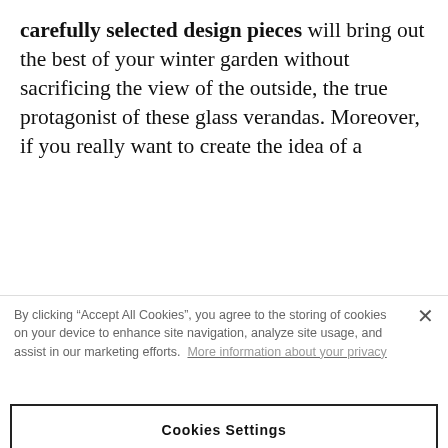carefully selected design pieces will bring out the best of your winter garden without sacrificing the view of the outside, the true protagonist of these glass verandas. Moreover, if you really want to create the idea of a [continues below]
By clicking "Accept All Cookies", you agree to the storing of cookies on your device to enhance site navigation, analyze site usage, and assist in our marketing efforts. More information about your privacy
Cookies Settings
Reject All
Accept All Cookies